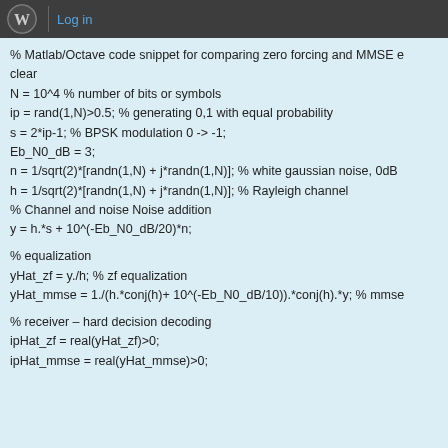Log in
% Matlab/Octave code snippet for comparing zero forcing and MMSE e
clear
N = 10^4 % number of bits or symbols
ip = rand(1,N)>0.5; % generating 0,1 with equal probability
s = 2*ip-1; % BPSK modulation 0 -> -1;
Eb_N0_dB = 3;
n = 1/sqrt(2)*[randn(1,N) + j*randn(1,N)]; % white gaussian noise, 0dB
h = 1/sqrt(2)*[randn(1,N) + j*randn(1,N)]; % Rayleigh channel
% Channel and noise Noise addition
y = h.*s + 10^(-Eb_N0_dB/20)*n;

% equalization
yHat_zf = y./h; % zf equalization
yHat_mmse = 1./(h.*conj(h)+ 10^(-Eb_N0_dB/10)).*conj(h).*y; % mmse

% receiver – hard decision decoding
ipHat_zf = real(yHat_zf)>0;
ipHat_mmse = real(yHat_mmse)>0;